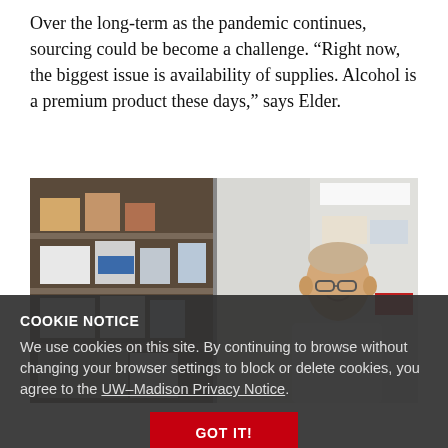Over the long-term as the pandemic continues, sourcing could be become a challenge. “Right now, the biggest issue is availability of supplies. Alcohol is a premium product these days,” says Elder.
[Figure (photo): Two-panel photo: left panel shows a laboratory shelf with boxes and supplies; right panel shows a man in a white lab coat smiling in a lab setting.]
COOKIE NOTICE
We use cookies on this site. By continuing to browse without changing your browser settings to block or delete cookies, you agree to the UW–Madison Privacy Notice.
GOT IT!